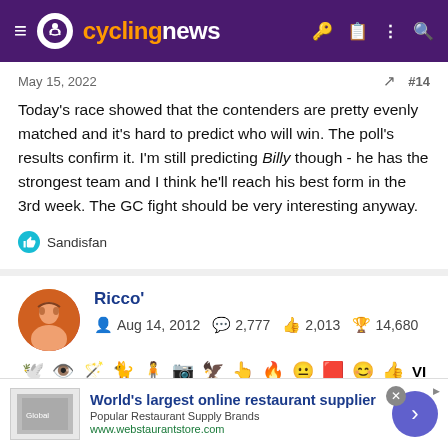cyclingnews
May 15, 2022  #14
Today's race showed that the contenders are pretty evenly matched and it's hard to predict who will win. The poll's results confirm it. I'm still predicting Billy though - he has the strongest team and I think he'll reach his best form in the 3rd week. The GC fight should be very interesting anyway.
Sandisfan
Ricco'  Aug 14, 2012  2,777  2,013  14,680